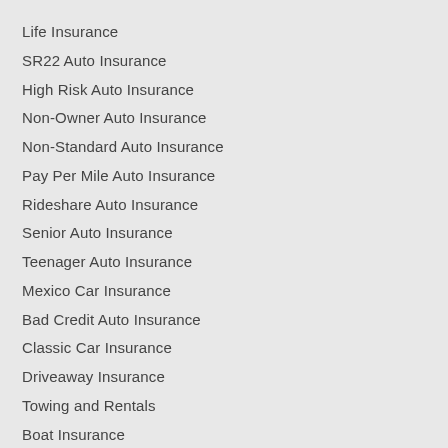Life Insurance
SR22 Auto Insurance
High Risk Auto Insurance
Non-Owner Auto Insurance
Non-Standard Auto Insurance
Pay Per Mile Auto Insurance
Rideshare Auto Insurance
Senior Auto Insurance
Teenager Auto Insurance
Mexico Car Insurance
Bad Credit Auto Insurance
Classic Car Insurance
Driveaway Insurance
Towing and Rentals
Boat Insurance